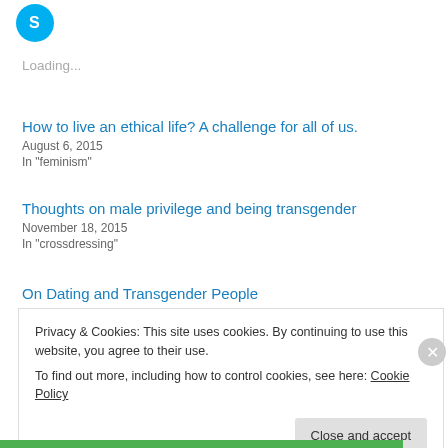[Figure (logo): Skype blue circle icon with white S letter]
Loading...
How to live an ethical life? A challenge for all of us.
August 6, 2015
In "feminism"
Thoughts on male privilege and being transgender
November 18, 2015
In "crossdressing"
On Dating and Transgender People
Privacy & Cookies: This site uses cookies. By continuing to use this website, you agree to their use.
To find out more, including how to control cookies, see here: Cookie Policy
Close and accept